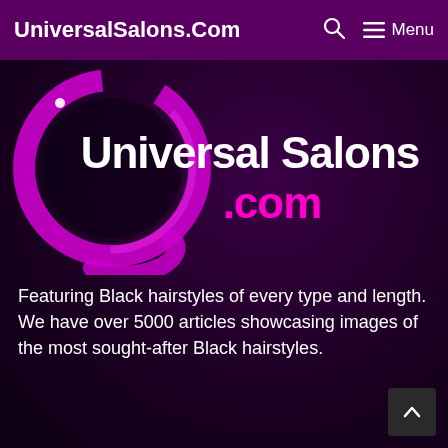UniversalSalons.Com  🔍  ☰ Menu
[Figure (logo): Universal Salons .com logo — a magenta/pink circular brush stroke ring on dark background with white bold text 'Universal Salons' and magenta '.com']
Featuring Black hairstyles of every type and length. We have over 5000 articles showcasing images of the most sought-after Black hairstyles.